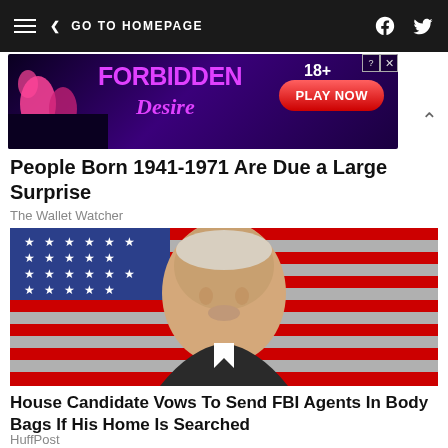GO TO HOMEPAGE
[Figure (photo): Advertisement banner: Forbidden Desire 18+ Play Now]
People Born 1941-1971 Are Due a Large Surprise
The Wallet Watcher
[Figure (photo): Photo of a middle-aged bald man in a suit speaking in front of an American flag]
House Candidate Vows To Send FBI Agents In Body Bags If His Home Is Searched
HuffPost